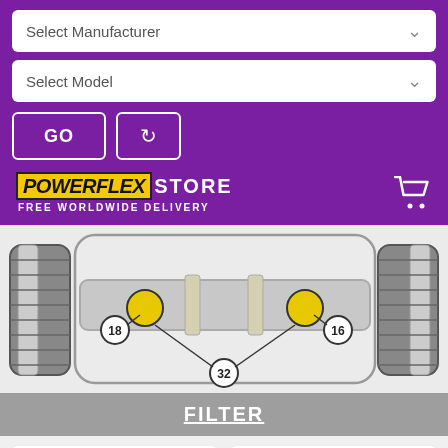Select Manufacturer
Select Model
GO
[Figure (screenshot): Purple header with PowerFlex Store logo and free worldwide delivery text, shopping cart icon on right]
[Figure (engineering-diagram): Car suspension/subframe diagram showing numbered bushing locations: 16, 18, 32 with yellow bushings highlighted]
FILTER
[Figure (photo): Two product cards showing Powerflex parts with blurred product codes and product images]
FREE WORLDWIDE DELIVERY